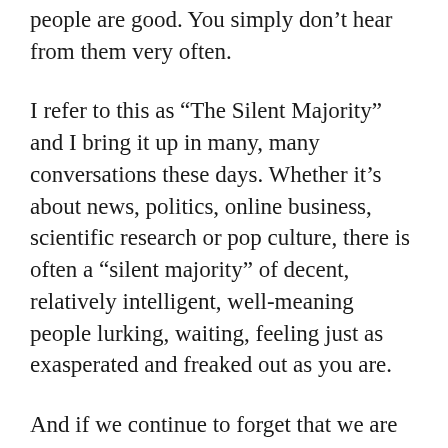people are good. You simply don't hear from them very often.
I refer to this as “The Silent Majority” and I bring it up in many, many conversations these days. Whether it’s about news, politics, online business, scientific research or pop culture, there is often a “silent majority” of decent, relatively intelligent, well-meaning people lurking, waiting, feeling just as exasperated and freaked out as you are.
And if we continue to forget that we are here, eventually we won’t be.